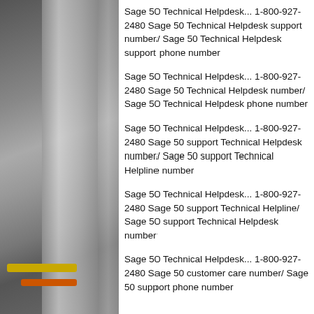[Figure (photo): Dark industrial/warehouse interior photo showing structural elements, pipes (yellow and orange), and columns against a grey background.]
Sage 50 Technical Helpdesk... 1-800-927-2480 Sage 50 Technical Helpdesk support number/ Sage 50 Technical Helpdesk support phone number
Sage 50 Technical Helpdesk... 1-800-927-2480 Sage 50 Technical Helpdesk number/ Sage 50 Technical Helpdesk phone number
Sage 50 Technical Helpdesk... 1-800-927-2480 Sage 50 support Technical Helpdesk number/ Sage 50 support Technical Helpline number
Sage 50 Technical Helpdesk... 1-800-927-2480 Sage 50 support Technical Helpline/ Sage 50 support Technical Helpdesk number
Sage 50 Technical Helpdesk... 1-800-927-2480 Sage 50 customer care number/ Sage 50 support phone number